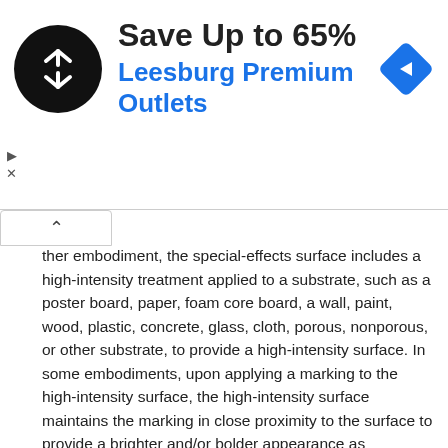[Figure (infographic): Advertisement banner: circular black logo with arrows icon, headline 'Save Up to 65%', subline 'Leesburg Premium Outlets' in blue, blue diamond navigation icon on right, with ad controls (play/close) on left]
ther embodiment, the special-effects surface includes a high-intensity treatment applied to a substrate, such as a poster board, paper, foam core board, a wall, paint, wood, plastic, concrete, glass, cloth, porous, nonporous, or other substrate, to provide a high-intensity surface. In some embodiments, upon applying a marking to the high-intensity surface, the high-intensity surface maintains the marking in close proximity to the surface to provide a brighter and/or bolder appearance as compared to a marking on a non-treated surface. For example, a high-intensity treatment may be applied to a paper substrate to generate a coated, high-intensity surface for receiving colored markings from non-permanent marking devices. The non-permanent marking device, such as a regular, broad line marker by Crayola® LLC of Easton, Pa., may produce markings on the high-intensity surface that are permanent, exhibiting a higher visible intensity than a colored marking on a non-treated paper surface. Accordingly, the high-intensity treatment on the high-intensity surface may maintain the colored marking in closer proximity to the surface of the treated paper (or similar surface) than a similar marking on a non-treated surface, thereby indicating the high-intensity surface may